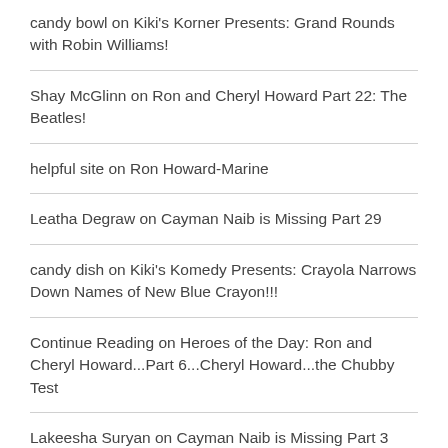candy bowl on Kiki's Korner Presents: Grand Rounds with Robin Williams!
Shay McGlinn on Ron and Cheryl Howard Part 22: The Beatles!
helpful site on Ron Howard-Marine
Leatha Degraw on Cayman Naib is Missing Part 29
candy dish on Kiki's Komedy Presents: Crayola Narrows Down Names of New Blue Crayon!!!
Continue Reading on Heroes of the Day: Ron and Cheryl Howard...Part 6...Cheryl Howard...the Chubby Test
Lakeesha Suryan on Cayman Naib is Missing Part 3
Melvin Vandy on Julie Andrews and Mary Tyler Moore